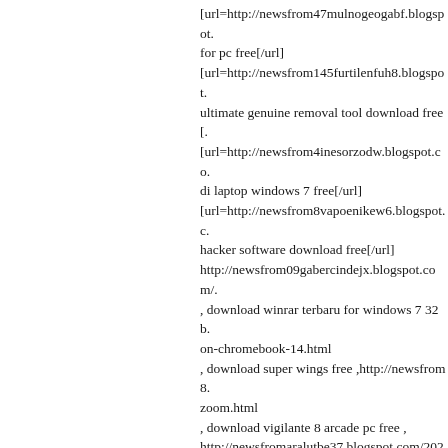[url=http://newsfrom47mulnogeogabf.blogspot... for pc free[/url] [url=http://newsfrom145furtilenfuh8.blogspot... ultimate genuine removal tool download free[... [url=http://newsfrom4inesorzodw.blogspot.co... di laptop windows 7 free[/url] [url=http://newsfrom8vapoenikew6.blogspot.c... hacker software download free[/url] http://newsfrom09gabercindejx.blogspot.com/... , download winrar terbaru for windows 7 32 b... on-chromebook-14.html , download super wings free ,http://newsfrom8... zoom.html , download vigilante 8 arcade pc free , http://newsfromaralutbe37.blogspot.com/2022... , fifa 2002 demo download pc free , http://new... download.html , realtek high definition audio manager downl... ,http://newsfrom33distvildomu5h.blogspot.co... , update 3 windows 8.1 download free , http://newsfromplacinnabaqj.blogspot.com/20... , 802.11 n wlan adapter driver download wind... to-fix-zoomed-in-screen-windows.html , apple application support download windows... ,http://newsfromsumpcavibu2v.blogspot.com/... , windows 8 installer download with crack fre...